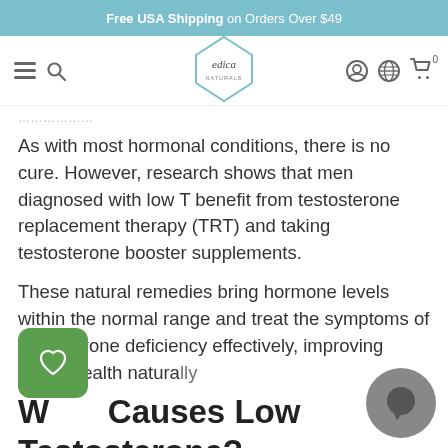Free USA Shipping on Orders Over $49
[Figure (logo): Edica Naturals logo in diamond shape with navigation bar icons (hamburger menu, search, user account, globe, shopping cart)]
…………
As with most hormonal conditions, there is no cure. However, research shows that men diagnosed with low T benefit from testosterone replacement therapy (TRT) and taking testosterone booster supplements.
These natural remedies bring hormone levels within the normal range and treat the symptoms of testosterone deficiency effectively, improving men's health naturally
What Causes Low Testosterone?